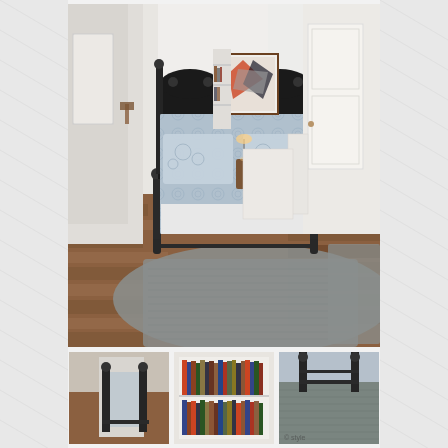[Figure (photo): Interior bedroom photo showing a queen-sized bed with a dark wrought-iron four-poster frame, blue and white patterned bedding, two arched dark headboards, a gray woven area rug on wide-plank hardwood floors, white walls, built-in shelves, a nightstand with lamp, and a framed artwork on the wall.]
[Figure (photo): Three small thumbnail photos at the bottom of the page showing different views of the same bedroom and its decor, including bookshelves and details.]